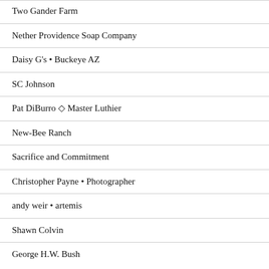Two Gander Farm
Nether Providence Soap Company
Daisy G's • Buckeye AZ
SC Johnson
Pat DiBurro ◇ Master Luthier
New-Bee Ranch
Sacrifice and Commitment
Christopher Payne • Photographer
andy weir • artemis
Shawn Colvin
George H.W. Bush